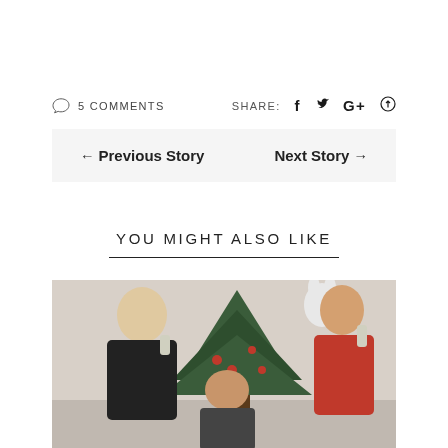5 COMMENTS
SHARE:
← Previous Story
Next Story →
YOU MIGHT ALSO LIKE
[Figure (photo): Group of people around a Christmas tree, laughing and holding drinks and stuffed animals]